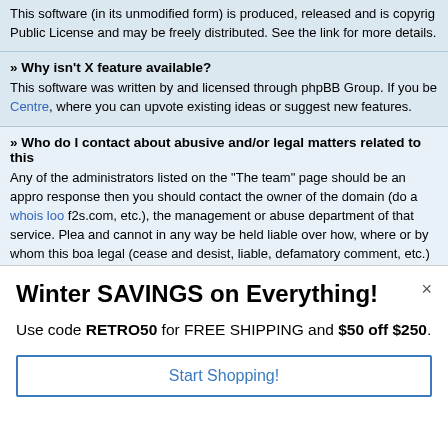This software (in its unmodified form) is produced, released and is copyright Public License and may be freely distributed. See the link for more details.
» Why isn't X feature available?
This software was written by and licensed through phpBB Group. If you be Centre, where you can upvote existing ideas or suggest new features.
» Who do I contact about abusive and/or legal matters related to this
Any of the administrators listed on the "The team" page should be an appro response then you should contact the owner of the domain (do a whois loc f2s.com, etc.), the management or abuse department of that service. Plea and cannot in any way be held liable over how, where or by whom this boa legal (cease and desist, liable, defamatory comment, etc.) matter not dire phpBB itself. If you do e-mail phpBB Group about any third party use of t response at all.
Winter SAVINGS on Everything!
Use code RETRO50 for FREE SHIPPING and $50 off $250.
Start Shopping!